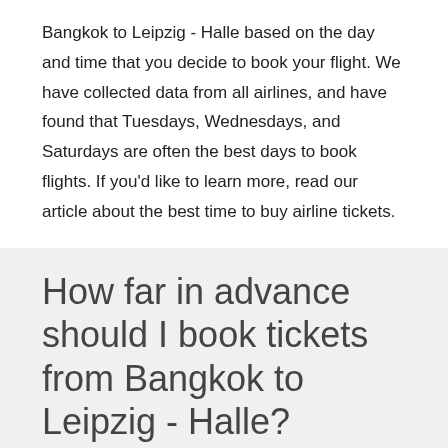Bangkok to Leipzig - Halle based on the day and time that you decide to book your flight. We have collected data from all airlines, and have found that Tuesdays, Wednesdays, and Saturdays are often the best days to book flights. If you'd like to learn more, read our article about the best time to buy airline tickets.
How far in advance should I book tickets from Bangkok to Leipzig - Halle?
The chart below shows up-to-date information